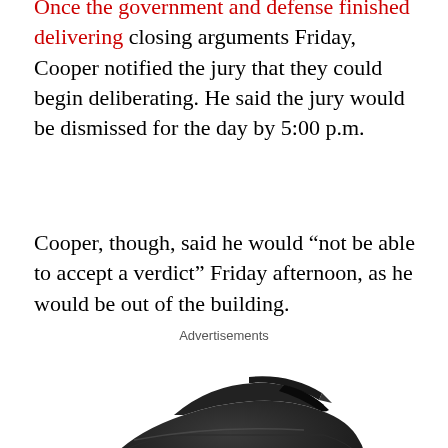Once the government and defense finished delivering closing arguments Friday, Cooper notified the jury that they could begin deliberating. He said the jury would be dismissed for the day by 5:00 p.m.
Cooper, though, said he would “not be able to accept a verdict” Friday afternoon, as he would be out of the building.
Advertisements
[Figure (photo): Rear three-quarter view of a dark/black futuristic concept SUV car with red accent taillights, photographed on a white background.]